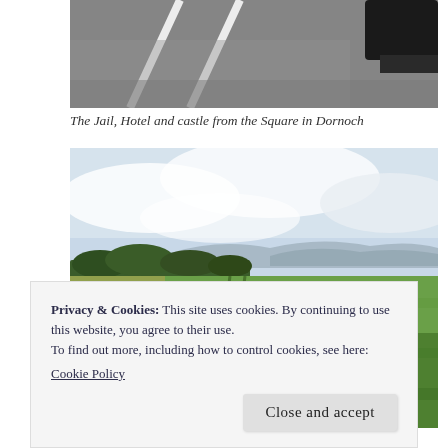[Figure (photo): Top portion of a photograph showing a road/tarmac surface with white road markings, and a dark vehicle partially visible at the top right edge.]
The Jail, Hotel and castle from the Square in Dornoch
[Figure (photo): Landscape photograph showing a wide, flat green field/lawn with tractor tracks, trees and hills on the horizon, and a partly cloudy sky above.]
Privacy & Cookies: This site uses cookies. By continuing to use this website, you agree to their use.
To find out more, including how to control cookies, see here:
Cookie Policy

Close and accept